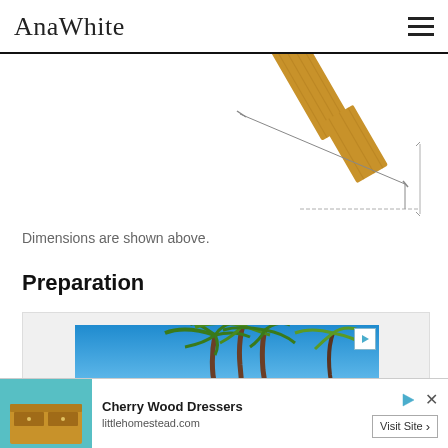AnaWhite
[Figure (engineering-diagram): Partial engineering diagram showing a wooden piece with dimension lines, partially cropped at the top of the page]
Dimensions are shown above.
Preparation
[Figure (photo): Advertisement image showing palm trees against a blue sky]
[Figure (photo): Bottom banner advertisement for Cherry Wood Dressers from littlehomestead.com with Visit Site button]